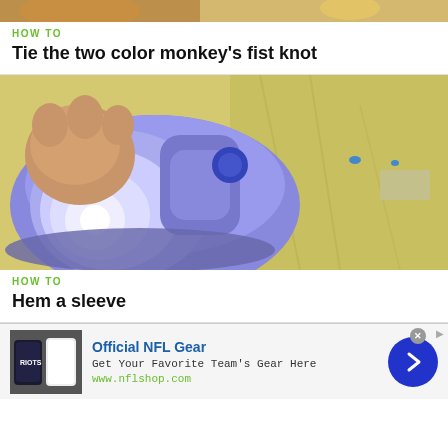[Figure (photo): Partial top image showing hands with colorful knot/rope, cropped at top of page]
HOW TO
Tie the two color monkey's fist knot
[Figure (photo): Close-up photo of a blue and white clothes iron pressing a yellow garment/sleeve on a surface]
HOW TO
Hem a sleeve
[Figure (other): Advertisement banner for Official NFL Gear showing NFL jerseys thumbnail, text 'Official NFL Gear', 'Get Your Favorite Team's Gear Here', 'www.nflshop.com', with a blue circle arrow button on the right]